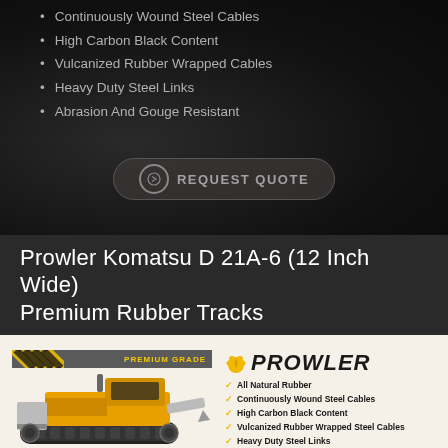Continuously Wound Steel Cables
High Carbon Black Content
Vulcanized Rubber Wrapped Cables
Heavy Duty Steel Links
Abrasion And Gouge Resistant
REQUEST QUOTE
Prowler Komatsu D 21A-6 (12 Inch Wide) Premium Rubber Tracks
[Figure (infographic): Prowler brand premium rubber tracks product infographic showing a yellow Komatsu D21A-6 dozer on rubber tracks, hazard stripe premium grade bar, Prowler logo with paw icon, and feature checklist: All Natural Rubber, Continuously Wound Steel Cables, High Carbon Black Content, Vulcanized Rubber Wrapped Steel Cables, Heavy Duty Steel Links, Abrasion And Gouge Resistant]